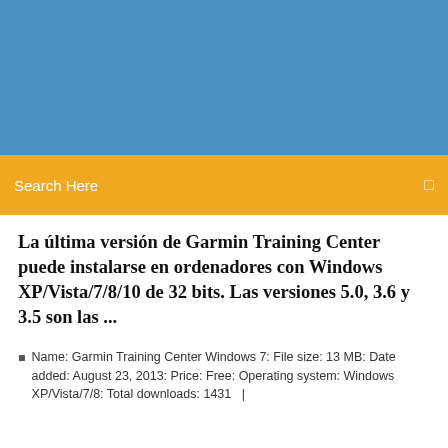[Figure (screenshot): Blue banner background at top of webpage]
Search Here
La última versión de Garmin Training Center puede instalarse en ordenadores con Windows XP/Vista/7/8/10 de 32 bits. Las versiones 5.0, 3.6 y 3.5 son las ...
Name: Garmin Training Center Windows 7: File size: 13 MB: Date added: August 23, 2013: Price: Free: Operating system: Windows XP/Vista/7/8: Total downloads: 1431  |